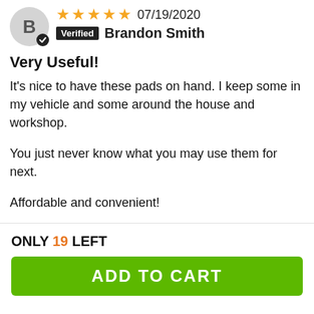[Figure (other): User avatar circle with letter B and verified checkmark badge]
★★★★★ 07/19/2020
Verified  Brandon Smith
Very Useful!
It's nice to have these pads on hand. I keep some in my vehicle and some around the house and workshop.

You just never know what you may use them for next.

Affordable and convenient!
[Figure (other): Second reviewer avatar circle (partial, bottom of page)]
★★★★★ 04/12/2020
ONLY 19 LEFT
ADD TO CART